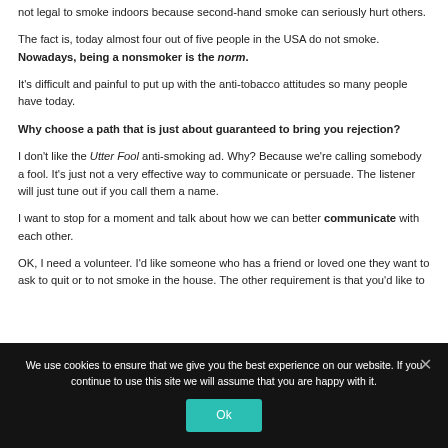not legal to smoke indoors because second-hand smoke can seriously hurt others.
The fact is, today almost four out of five people in the USA do not smoke. Nowadays, being a nonsmoker is the norm.
It's difficult and painful to put up with the anti-tobacco attitudes so many people have today.
Why choose a path that is just about guaranteed to bring you rejection?
I don't like the Utter Fool anti-smoking ad. Why? Because we're calling somebody a fool. It's just not a very effective way to communicate or persuade. The listener will just tune out if you call them a name.
I want to stop for a moment and talk about how we can better communicate with each other.
OK, I need a volunteer. I'd like someone who has a friend or loved one they want to ask to quit or to not smoke in the house. The other requirement is that you'd...
We use cookies to ensure that we give you the best experience on our website. If you continue to use this site we will assume that you are happy with it.